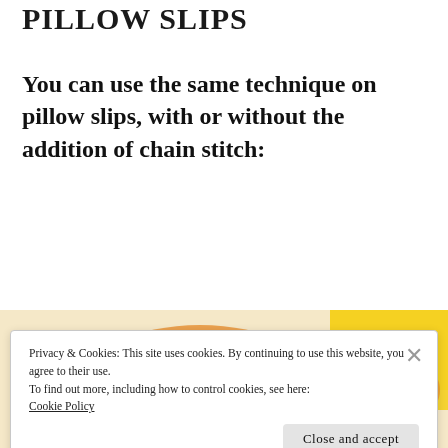PILLOW SLIPS
You can use the same technique on pillow slips, with or without the addition of chain stitch:
[Figure (photo): Photograph of colorful pillow slips with embroidery, showing yellow and orange fabric with chain stitch decoration]
Privacy & Cookies: This site uses cookies. By continuing to use this website, you agree to their use.
To find out more, including how to control cookies, see here:
Cookie Policy
Close and accept